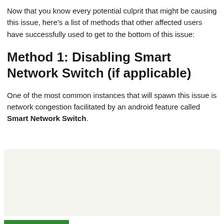Now that you know every potential culprit that might be causing this issue, here's a list of methods that other affected users have successfully used to get to the bottom of this issue:
Method 1: Disabling Smart Network Switch (if applicable)
One of the most common instances that will spawn this issue is network congestion facilitated by an android feature called Smart Network Switch.
[Figure (screenshot): Screenshot or image related to Smart Network Switch settings]